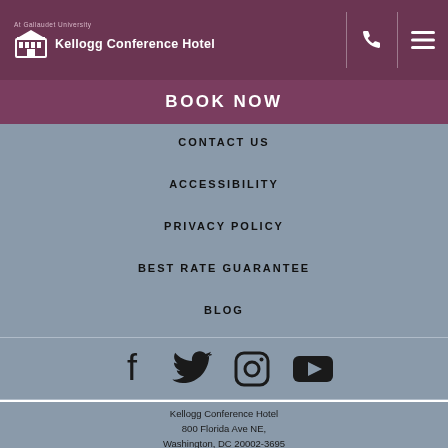[Figure (logo): Kellogg Conference Hotel logo at Gallaudet University — white building icon and white text on dark purple background]
BOOK NOW
CONTACT US
ACCESSIBILITY
PRIVACY POLICY
BEST RATE GUARANTEE
BLOG
[Figure (infographic): Social media icons: Facebook, Twitter, Instagram, YouTube]
Kellogg Conference Hotel
800 Florida Ave NE,
Washington, DC 20002-3695
Phone: +(202) 651-6000